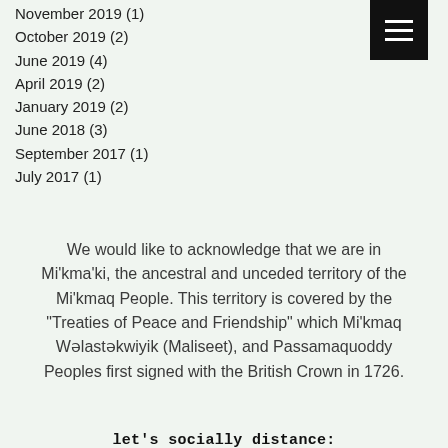November 2019 (1)
October 2019 (2)
June 2019 (4)
April 2019 (2)
January 2019 (2)
June 2018 (3)
September 2017 (1)
July 2017 (1)
We would like to acknowledge that we are in Mi’kma’ki, the ancestral and unceded territory of the Mi’kmaq People. This territory is covered by the “Treaties of Peace and Friendship” which Mi’kmaq Wəlastəkwiyik (Maliseet), and Passamaquoddy Peoples first signed with the British Crown in 1726.
let's socially distance: